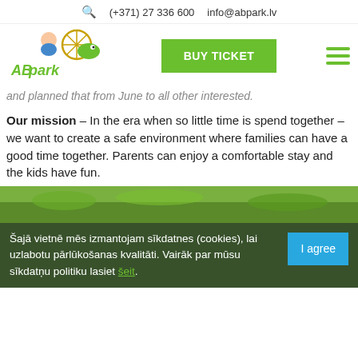🔍  (+371) 27 336 600    info@abpark.lv
[Figure (logo): ABpark logo with cartoon characters and dinosaur]
BUY TICKET
and planned that from June to all other interested.
Our mission – In the era when so little time is spend together – we want to create a safe environment where families can have a good time together. Parents can enjoy a comfortable stay and the kids have fun.
[Figure (photo): Green outdoor park area with grass]
Šajā vietnē mēs izmantojam sīkdatnes (cookies), lai uzlabotu pārlūkošanas kvalitāti. Vairāk par mūsu sīkdatņu politiku lasiet šeit.